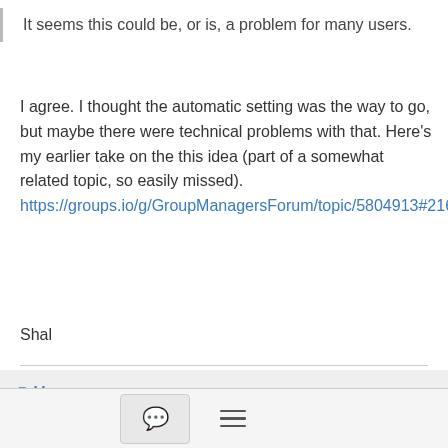It seems this could be, or is, a problem for many users.
I agree. I thought the automatic setting was the way to go, but maybe there were technical problems with that. Here's my earlier take on the this idea (part of a somewhat related topic, so easily missed).
https://groups.io/g/GroupManagersForum/topic/5804913#2163
Shal
≡ More
[Figure (screenshot): Navigation buttons: back arrow, forward arrow, page indicator showing 1 - 10 of 10 with previous/next page controls showing page 1]
[Figure (screenshot): Bottom toolbar with chat bubble icon button and hamburger menu icon]